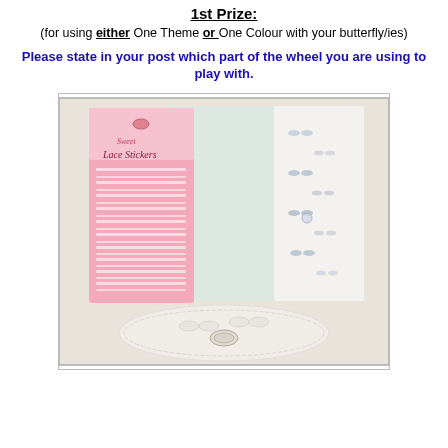1st Prize:
(for using either One Theme or One Colour with your butterfly/ies)
Please state in your post which part of the wheel you are using to play with.
[Figure (photo): Photo showing craft supplies: a pink lace stickers packet on the left, a white/cream card in the middle, a white card decorated with butterfly designs on the right, and an oval lace/doily piece with butterfly cutouts and a rhinestone in the foreground.]